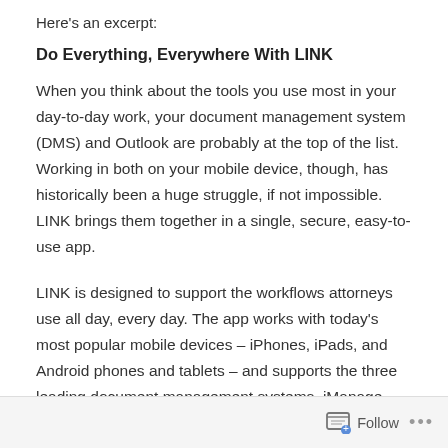Here's an excerpt:
Do Everything, Everywhere With LINK
When you think about the tools you use most in your day-to-day work, your document management system (DMS) and Outlook are probably at the top of the list. Working in both on your mobile device, though, has historically been a huge struggle, if not impossible. LINK brings them together in a single, secure, easy-to-use app.
LINK is designed to support the workflows attorneys use all day, every day. The app works with today's most popular mobile devices – iPhones, iPads, and Android phones and tablets – and supports the three leading document management systems, iManage Work®,
Follow ...